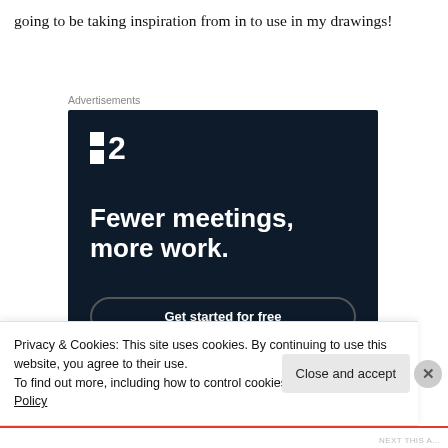going to be taking inspiration from in to use in my drawings!
Advertisements
[Figure (other): Advertisement banner for a project management tool. Dark navy background with a logo showing two small squares and the number 2, headline text 'Fewer meetings, more work.' and a 'Get started for free' button.]
Privacy & Cookies: This site uses cookies. By continuing to use this website, you agree to their use.
To find out more, including how to control cookies, see here: Cookie Policy
Close and accept